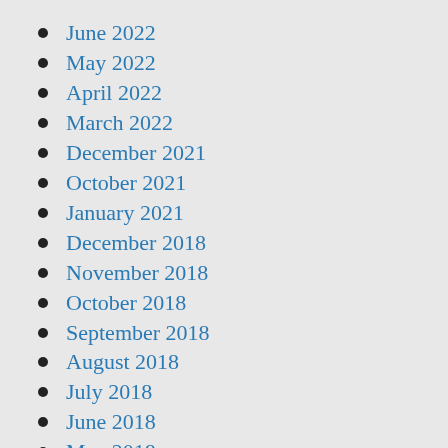June 2022
May 2022
April 2022
March 2022
December 2021
October 2021
January 2021
December 2018
November 2018
October 2018
September 2018
August 2018
July 2018
June 2018
May 2018
April 2018